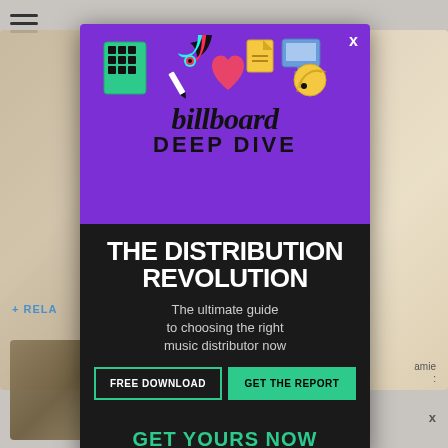[Figure (screenshot): Billboard Deep Dive advertisement popup overlay on a webpage. Purple top section with illustrated TikTok and social media icons, Billboard logo and 'Deep Dive' text. Black bottom section with 'THE DISTRIBUTION REVOLUTION' headline, subtitle 'The ultimate guide to choosing the right music distributor now', two CTA buttons 'FREE DOWNLOAD' and 'GET THE REPORT', and 'GET YOURS NOW' banner. Background shows partial webpage with hamburger menu, article images, and SPY logo.]